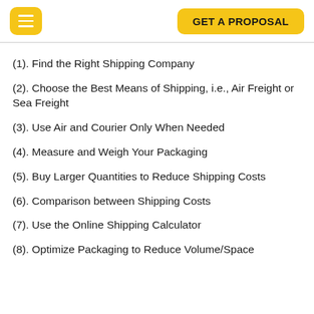GET A PROPOSAL
(1). Find the Right Shipping Company
(2). Choose the Best Means of Shipping, i.e., Air Freight or Sea Freight
(3). Use Air and Courier Only When Needed
(4). Measure and Weigh Your Packaging
(5). Buy Larger Quantities to Reduce Shipping Costs
(6). Comparison between Shipping Costs
(7). Use the Online Shipping Calculator
(8). Optimize Packaging to Reduce Volume/Space